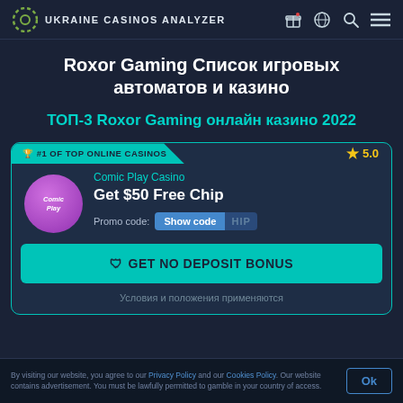UKRAINE CASINOS ANALYZER
Roxor Gaming Список игровых автоматов и казино
ТОП-3 Roxor Gaming онлайн казино 2022
[Figure (screenshot): Casino card for Comic Play Casino showing #1 OF TOP ONLINE CASINOS badge, 5.0 rating, Get $50 Free Chip offer, promo code field with Show code button, GET NO DEPOSIT BONUS CTA button]
Comic Play Casino
Get $50 Free Chip
Promo code: Show code HIP
GET NO DEPOSIT BONUS
Условия и положения применяются
By visiting our website, you agree to our Privacy Policy and our Cookies Policy. Our website contains advertisement. You must be lawfully permitted to gamble in your country of access.